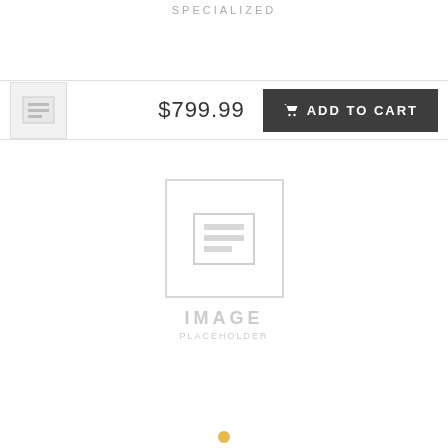SPECIALIZED
[Figure (screenshot): Thumbnail image placeholder with document icon]
$799.99
ADD TO CART
[Figure (photo): Large image placeholder with IMAGE text watermark]
[Figure (other): Yellow dot carousel indicator]